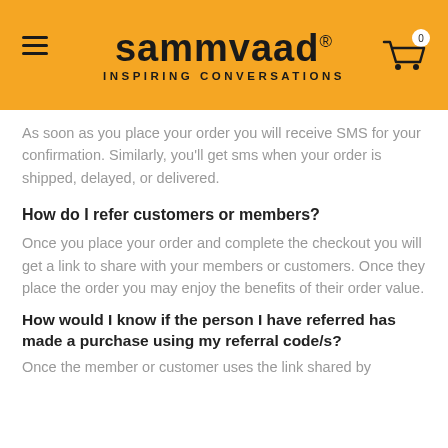sammvaad® INSPIRING CONVERSATIONS
As soon as you place your order you will receive SMS for your confirmation. Similarly, you'll get sms when your order is shipped, delayed, or delivered.
How do I refer customers or members?
Once you place your order and complete the checkout you will get a link to share with your members or customers. Once they place the order you may enjoy the benefits of their order value.
How would I know if the person I have referred has made a purchase using my referral code/s?
Once the member or customer uses the link shared by